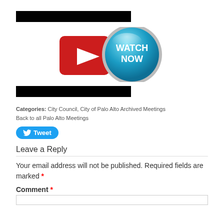[Figure (other): Black redacted bar at top]
[Figure (other): Watch Now button with red play icon and blue teal circle badge]
[Figure (other): Black redacted bar below watch button]
Categories: City Council, City of Palo Alto Archived Meetings
Back to all Palo Alto Meetings
[Figure (other): Tweet button (Twitter/X share button)]
Leave a Reply
Your email address will not be published. Required fields are marked *
Comment *